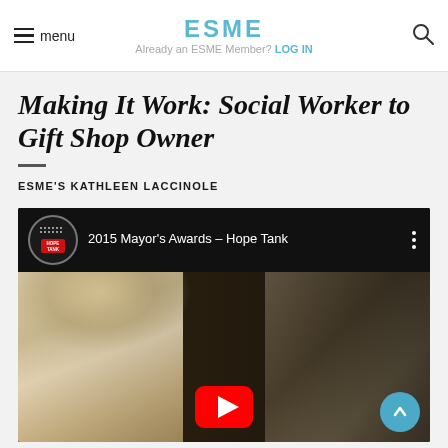menu  ESME  Already an ESME Member? LOG IN
Making It Work: Social Worker to Gift Shop Owner
ESME'S KATHLEEN LACCINOLE
[Figure (screenshot): Embedded YouTube video titled '2015 Mayor's Awards – Hope Tank' showing a blonde woman in a shop setting, with a YouTube play button overlay and a Hope Tank channel logo.]